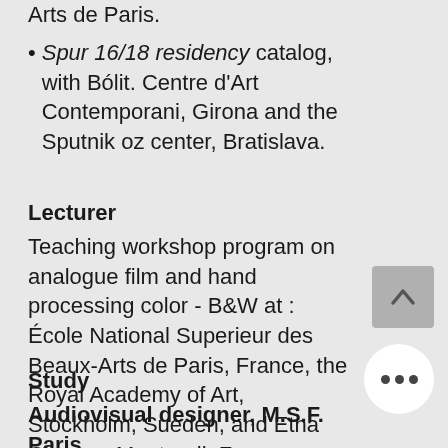Arts de Paris.
Spur 16/18 residency catalog, with Bólit. Centre d'Art Contemporani, Girona and the Sputnik oz center, Bratislava.
Lecturer
Teaching workshop program on analogue film and hand processing color - B&W at : École National Superieur des Beaux-Arts de Paris, France, the Royal Academy of Art, Stockholm, Sueden, and Etna Cinema, Montreuil, France.
Study
Audiovisual designer, M.S.F. Paris.